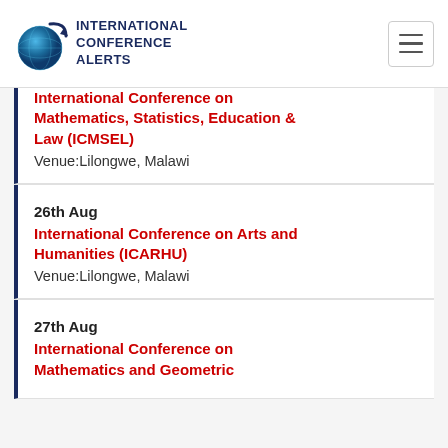[Figure (logo): International Conference Alerts logo with globe icon and text]
International Conference on Mathematics, Statistics, Education & Law (ICMSEL)
Venue:Lilongwe, Malawi
26th Aug
International Conference on Arts and Humanities (ICARHU)
Venue:Lilongwe, Malawi
27th Aug
International Conference on Mathematics and Geometric